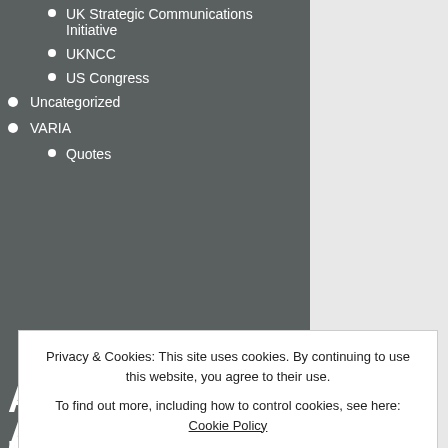UK Strategic Communications Initiative
UKNCC
US Congress
Uncategorized
VARIA
Quotes
search this site
Afghanistan al muhajiroun Al Qaeda Anwar al awlaki AQ AQAP AQIM Belt and Road Belt and Road Initiative BRI Central Asia China China...
Privacy & Cookies: This site uses cookies. By continuing to use this website, you agree to their use.
To find out more, including how to control cookies, see here: Cookie Policy
Close and accept